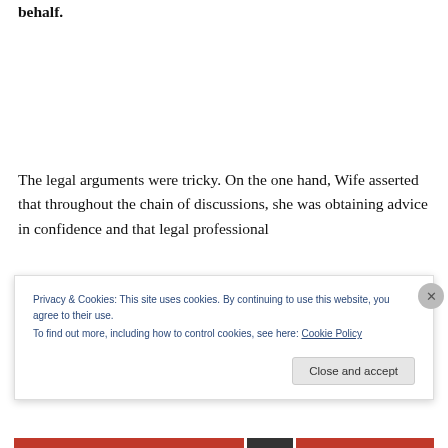behalf.
The legal arguments were tricky. On the one hand, Wife asserted that throughout the chain of discussions, she was obtaining advice in confidence and that legal professional
[Figure (screenshot): Cookie consent banner overlay with text: 'Privacy & Cookies: This site uses cookies. By continuing to use this website, you agree to their use. To find out more, including how to control cookies, see here: Cookie Policy' and a 'Close and accept' button.]